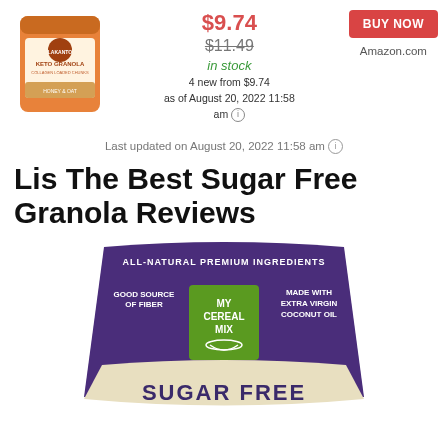[Figure (photo): Orange Lakanto Keto Granola product bag]
$9.74
$11.49 (strikethrough)
in stock
4 new from $9.74
as of August 20, 2022 11:58 am
BUY NOW
Amazon.com
Last updated on August 20, 2022 11:58 am
Lis The Best Sugar Free Granola Reviews
[Figure (photo): My Cereal Mix Sugar Free granola purple bag with green label, text: ALL-NATURAL PREMIUM INGREDIENTS, GOOD SOURCE OF FIBER, MADE WITH EXTRA VIRGIN COCONUT OIL, SUGAR FREE]